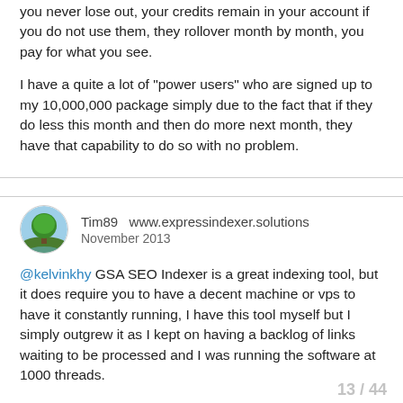you never lose out, your credits remain in your account if you do not use them, they rollover month by month, you pay for what you see.
I have a quite a lot of "power users" who are signed up to my 10,000,000 package simply due to the fact that if they do less this month and then do more next month, they have that capability to do so with no problem.
Tim89   www.expressindexer.solutions
November 2013
@kelvinkhy GSA SEO Indexer is a great indexing tool, but it does require you to have a decent machine or vps to have it constantly running, I have this tool myself but I simply outgrew it as I kept on having a backlog of links waiting to be processed and I was running the software at 1000 threads.
when you have over a million urls to be processed through GSA indexer it can take a while on the "full indexing mode" but it is still valuable piece of software.
13 / 44